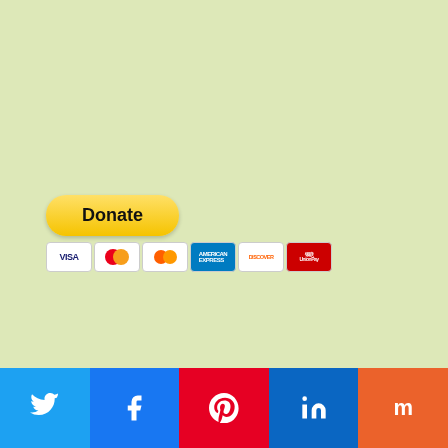[Figure (other): PayPal Donate button with payment method icons (Visa, Mastercard, Maestro, Amex, Discover, Union Pay)]
[Figure (other): Amazon affiliate widget showing a book titled 'Herbal Medicine: 190 Herbs To...' priced at $0.00 with Amazon logo and book cover image]
[Figure (other): Social sharing bar with Twitter, Facebook, Pinterest, LinkedIn, and Mix buttons]